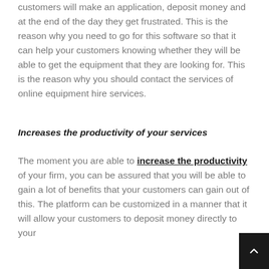customers will make an application, deposit money and at the end of the day they get frustrated. This is the reason why you need to go for this software so that it can help your customers knowing whether they will be able to get the equipment that they are looking for. This is the reason why you should contact the services of online equipment hire services.
Increases the productivity of your services
The moment you are able to increase the productivity of your firm, you can be assured that you will be able to gain a lot of benefits that your customers can gain out of this. The platform can be customized in a manner that it will allow your customers to deposit money directly to your